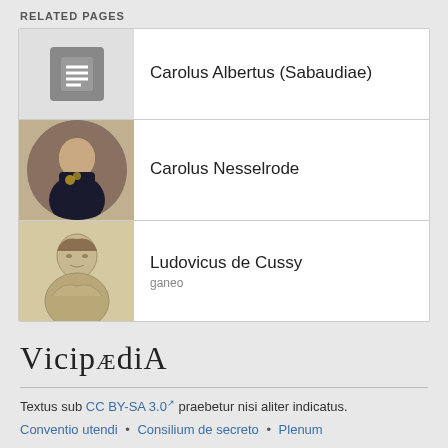RELATED PAGES
| Image | Title | Subtitle |
| --- | --- | --- |
| [document icon] | Carolus Albertus (Sabaudiae) |  |
| [portrait of Carolus Nesselrode] | Carolus Nesselrode |  |
| [sketch portrait] | Ludovicus de Cussy | ganeo |
VicipædiA
Textus sub CC BY-SA 3.0 praebetur nisi aliter indicatus.
Conventio utendi • Consilium de secreto • Plenum